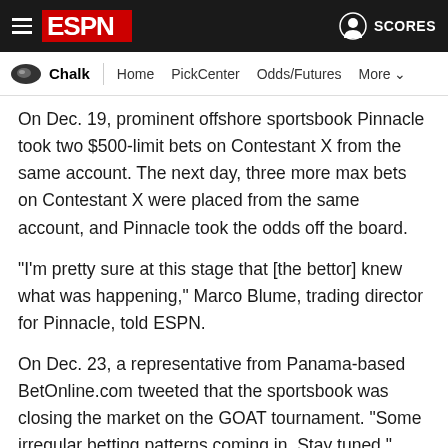ESPN Chalk — Home | PickCenter | Odds/Futures | More
On Dec. 19, prominent offshore sportsbook Pinnacle took two $500-limit bets on Contestant X from the same account. The next day, three more max bets on Contestant X were placed from the same account, and Pinnacle took the odds off the board.
"I'm pretty sure at this stage that [the bettor] knew what was happening," Marco Blume, trading director for Pinnacle, told ESPN.
On Dec. 23, a representative from Panama-based BetOnline.com tweeted that the sportsbook was closing the market on the GOAT tournament. "Some irregular betting patterns coming in. Stay tuned," BetOnline chief Dave Mason posted on Twitter.